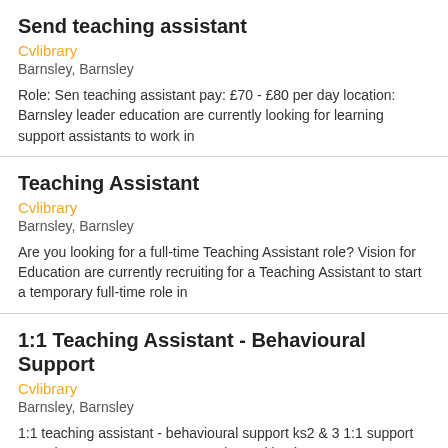Send teaching assistant
Cvlibrary
Barnsley, Barnsley
Role: Sen teaching assistant pay: £70 - £80 per day location: Barnsley leader education are currently looking for learning support assistants to work in
Teaching Assistant
Cvlibrary
Barnsley, Barnsley
Are you looking for a full-time Teaching Assistant role? Vision for Education are currently recruiting for a Teaching Assistant to start a temporary full-time role in
1:1 Teaching Assistant - Behavioural Support
Cvlibrary
Barnsley, Barnsley
1:1 teaching assistant - behavioural support ks2 & 3 1:1 support Barnsley £350 - £375.00 per week. Working hours 08:30AM 15:40PM Monday to Friday salary
Behaviour Support Worker
Cvlibrary
Barnsley, Barnsley